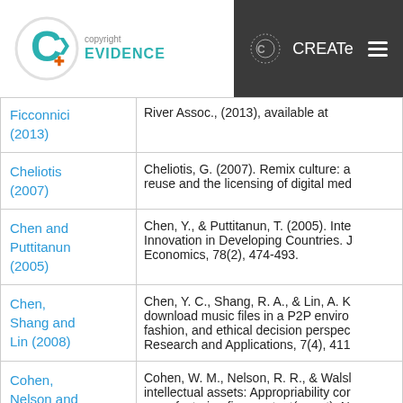Copyright Evidence | CREATe
| Citation | Reference |
| --- | --- |
| Ficconnici (2013) | River Assoc., (2013), available at |
| Cheliotis (2007) | Cheliotis, G. (2007). Remix culture: a reuse and the licensing of digital med |
| Chen and Puttitanun (2005) | Chen, Y., & Puttitanun, T. (2005). Inte Innovation in Developing Countries. J Economics, 78(2), 474-493. |
| Chen, Shang and Lin (2008) | Chen, Y. C., Shang, R. A., & Lin, A. K download music files in a P2P enviro fashion, and ethical decision perspec Research and Applications, 7(4), 411 |
| Cohen, Nelson and Walsh | Cohen, W. M., Nelson, R. R., & Walsl intellectual assets: Appropriability cor manufacturing firms patent(or not). N |